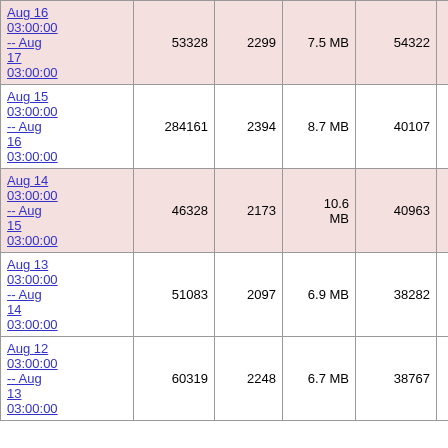| Date Range | Col2 | Col3 | Col4 | Col5 | Col6 | Col7 |
| --- | --- | --- | --- | --- | --- | --- |
| Aug 16 03:00:00 -- Aug 17 03:00:00 | 53328 | 2299 | 7.5 MB | 54322 | 4948 |  |
| Aug 15 03:00:00 -- Aug 16 03:00:00 | 284161 | 2394 | 8.7 MB | 40107 | 5296 |  |
| Aug 14 03:00:00 -- Aug 15 03:00:00 | 46328 | 2173 | 10.6 MB | 40963 | 5397 |  |
| Aug 13 03:00:00 -- Aug 14 03:00:00 | 51083 | 2097 | 6.9 MB | 38282 | 4890 |  |
| Aug 12 03:00:00 -- Aug 13 03:00:00 | 60319 | 2248 | 6.7 MB | 38767 | 4821 |  |